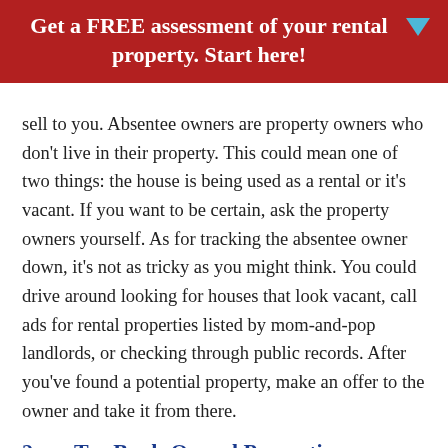Get a FREE assessment of your rental property. Start here!
sell to you. Absentee owners are property owners who don't live in their property. This could mean one of two things: the house is being used as a rental or it's vacant. If you want to be certain, ask the property owners yourself. As for tracking the absentee owner down, it's not as tricky as you might think. You could drive around looking for houses that look vacant, call ads for rental properties listed by mom-and-pop landlords, or checking through public records. After you've found a potential property, make an offer to the owner and take it from there.
2. Try Bank-Owned Properties
Foreclosed properties can periodically turn out to be a source for great real estate deals. Often, foreclosures happen because the bank has repossessed the home due to the